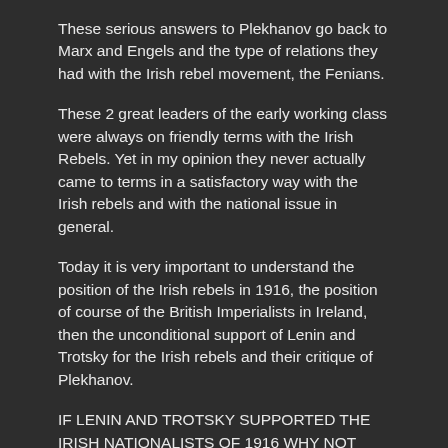These serious answers to Plekhanov go back to Marx and Engels and the type of relations they had with the Irish rebel movement, the Fenians.
These 2 great leaders of the early working class were always on friendly terms with the Irish Rebels. Yet in my opinion they never actually came to terms in a satisfactory way with the Irish rebels and with the national issue in general.
Today it is very important to understand the position of the Irish rebels in 1916, the position of course of the British Imperialists in Ireland, then the unconditional support of Lenin and Trotsky for the Irish rebels and their critique of Plekhanov.
IF LENIN AND TROTSKY SUPPORTED THE IRISH NATIONALISTS OF 1916 WHY NOT THEN SUPPORT THE JEWISH NATIONALISTS WHO ARE KNOWN AS ZIONISTS?